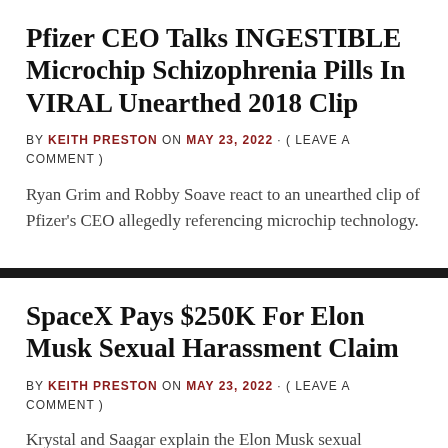Pfizer CEO Talks INGESTIBLE Microchip Schizophrenia Pills In VIRAL Unearthed 2018 Clip
BY KEITH PRESTON ON MAY 23, 2022 · ( LEAVE A COMMENT )
Ryan Grim and Robby Soave react to an unearthed clip of Pfizer's CEO allegedly referencing microchip technology.
SpaceX Pays $250K For Elon Musk Sexual Harassment Claim
BY KEITH PRESTON ON MAY 23, 2022 · ( LEAVE A COMMENT )
Krystal and Saagar explain the Elon Musk sexual harassment allegations and the money SpaceX paid to the victim in exchange for her